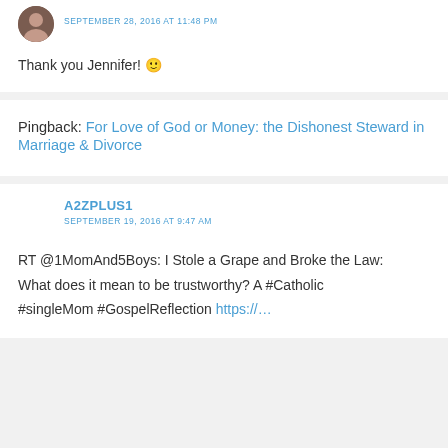SEPTEMBER 28, 2016 AT 11:48 PM
Thank you Jennifer! 🙂
Pingback: For Love of God or Money: the Dishonest Steward in Marriage & Divorce
A2ZPLUS1
SEPTEMBER 19, 2016 AT 9:47 AM
RT @1MomAnd5Boys: I Stole a Grape and Broke the Law: What does it mean to be trustworthy? A #Catholic #singleMom #GospelReflection https://…